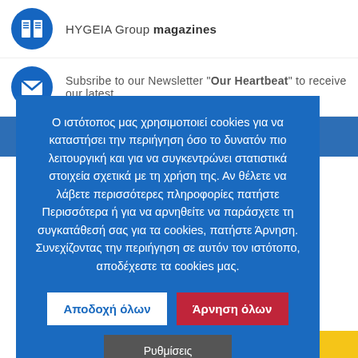HYGEIA Group magazines
Subsribe to our Newsletter "Our Heartbeat" to receive our latest
Ο ιστότοπος μας χρησιμοποιεί cookies για να καταστήσει την περιήγηση όσο το δυνατόν πιο λειτουργική και για να συγκεντρώνει στατιστικά στοιχεία σχετικά με τη χρήση της. Αν θέλετε να λάβετε περισσότερες πληροφορίες πατήστε Περισσότερα ή για να αρνηθείτε να παράσχετε τη συγκατάθεσή σας για τα cookies, πατήστε Άρνηση. Συνεχίζοντας την περιήγηση σε αυτόν τον ιστότοπο, αποδέχεστε τα cookies μας.
Αποδοχή όλων
Άρνηση όλων
Ρυθμίσεις
n our website.